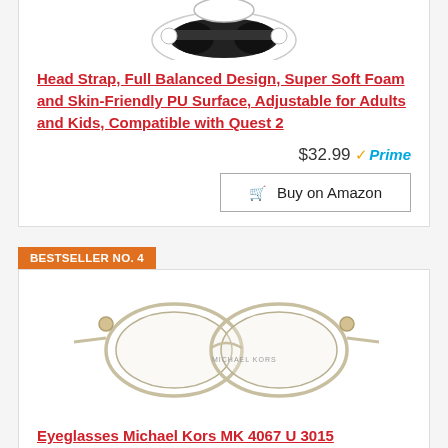[Figure (photo): VR headset head strap product photo, black and white device, top portion cropped]
Head Strap, Full Balanced Design, Super Soft Foam and Skin-Friendly PU Surface, Adjustable for Adults and Kids, Compatible with Quest 2
$32.99 Prime
Buy on Amazon
BESTSELLER NO. 4
[Figure (photo): Michael Kors eyeglasses MK 4067 U 3015, transparent clear frames, cat-eye style]
Eyeglasses Michael Kors MK 4067 U 3015 Transparent Clear, 55/16/140